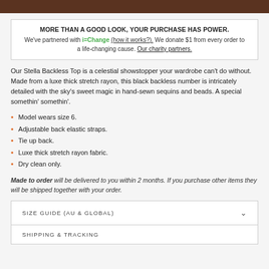MORE THAN A GOOD LOOK, YOUR PURCHASE HAS POWER. We've partnered with i=Change (how it works?). We donate $1 from every order to a life-changing cause. Our charity partners.
Our Stella Backless Top is a celestial showstopper your wardrobe can't do without. Made from a luxe thick stretch rayon, this black backless number is intricately detailed with the sky's sweet magic in hand-sewn sequins and beads. A special somethin' somethin'.
Model wears size 6.
Adjustable back elastic straps.
Tie up back.
Luxe thick stretch rayon fabric.
Dry clean only.
Made to order will be delivered to you within 2 months. If you purchase other items they will be shipped together with your order.
SIZE GUIDE (AU & GLOBAL)
SHIPPING & TRACKING